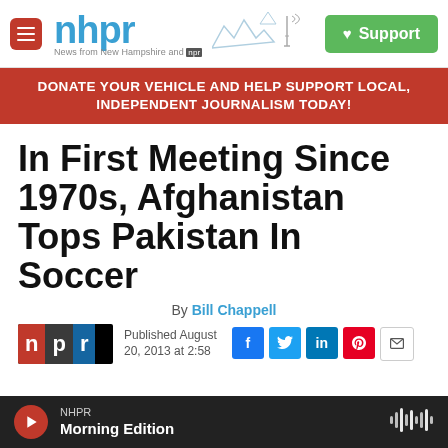nhpr — News from New Hampshire and NPR | Support
DONATE YOUR VEHICLE AND HELP SUPPORT LOCAL, INDEPENDENT JOURNALISM TODAY!
In First Meeting Since 1970s, Afghanistan Tops Pakistan In Soccer
By Bill Chappell
Published August 20, 2013 at 2:58
NHPR Morning Edition